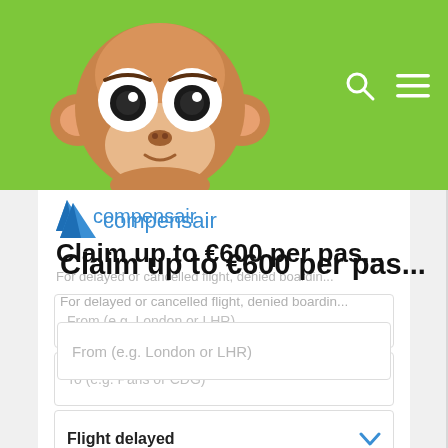[Figure (logo): Compensair website header with cartoon monkey logo on green background, search icon and hamburger menu]
[Figure (logo): Compensair logo: blue triangle/plane icon with 'compensair' text in blue]
Claim up to €600 per pas...
For delayed or cancelled flight, denied boardin...
From (e.g. London or LHR)
To (e.g. Paris or CDG)
Flight delayed
Date of departure